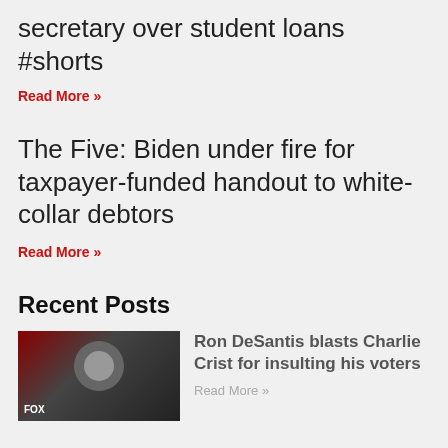secretary over student loans #shorts
Read More »
The Five: Biden under fire for taxpayer-funded handout to white-collar debtors
Read More »
Recent Posts
[Figure (photo): Thumbnail photo of Ron DeSantis at a podium]
Ron DeSantis blasts Charlie Crist for insulting his voters
Read More »
[Figure (photo): Thumbnail photo of Jesse Watters]
Jesse Watters: This is who Biden is